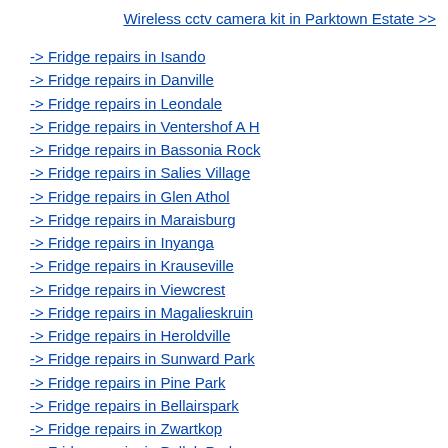Wireless cctv camera kit in Parktown Estate >>
-> Fridge repairs in Isando
-> Fridge repairs in Danville
-> Fridge repairs in Leondale
-> Fridge repairs in Ventershof A H
-> Fridge repairs in Bassonia Rock
-> Fridge repairs in Salies Village
-> Fridge repairs in Glen Athol
-> Fridge repairs in Maraisburg
-> Fridge repairs in Inyanga
-> Fridge repairs in Krauseville
-> Fridge repairs in Viewcrest
-> Fridge repairs in Magalieskruin
-> Fridge repairs in Heroldville
-> Fridge repairs in Sunward Park
-> Fridge repairs in Pine Park
-> Fridge repairs in Bellairspark
-> Fridge repairs in Zwartkop
-> Fridge repairs in Pollak Park
-> Fridge repairs in Cramerview
-> Fridge repairs in Vlakplaats
-> Fridge repairs in Homestead Apple Orchards
-> Fridge repairs in Vlakteplaas
-> Fridge repairs in Austinview
-> Fridge repairs in Jaacslea